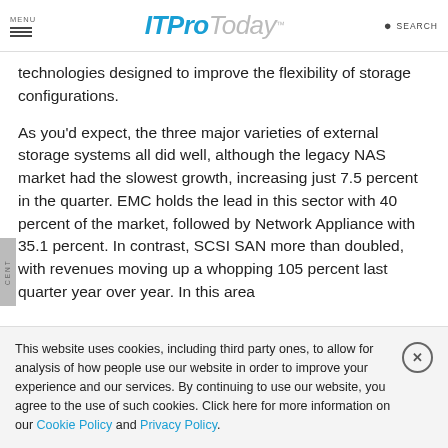MENU | ITProToday | SEARCH
technologies designed to improve the flexibility of storage configurations.
As you'd expect, the three major varieties of external storage systems all did well, although the legacy NAS market had the slowest growth, increasing just 7.5 percent in the quarter. EMC holds the lead in this sector with 40 percent of the market, followed by Network Appliance with 35.1 percent. In contrast, SCSI SAN more than doubled, with revenues moving up a whopping 105 percent last quarter year over year. In this area
This website uses cookies, including third party ones, to allow for analysis of how people use our website in order to improve your experience and our services. By continuing to use our website, you agree to the use of such cookies. Click here for more information on our Cookie Policy and Privacy Policy.